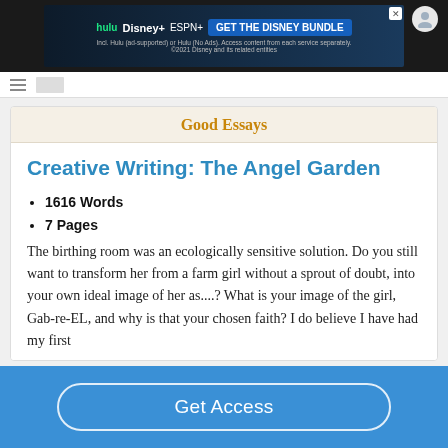[Figure (screenshot): Disney Bundle advertisement banner with Hulu, Disney+, ESPN+ logos and 'GET THE DISNEY BUNDLE' call to action button]
Good Essays
Creative Writing: The Angel Garden
1616 Words
7 Pages
The birthing room was an ecologically sensitive solution. Do you still want to transform her from a farm girl without a sprout of doubt, into your own ideal image of her as....? What is your image of the girl, Gab-re-EL, and why is that your chosen faith? I do believe I have had my first
Get Access